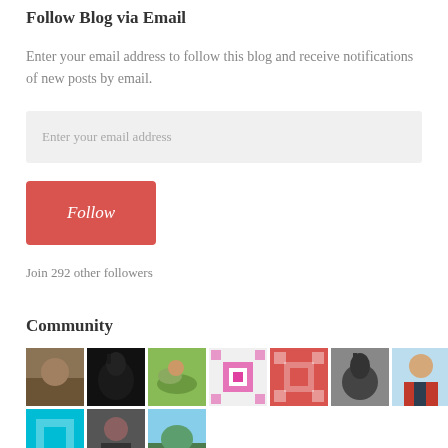Follow Blog via Email
Enter your email address to follow this blog and receive notifications of new posts by email.
[Figure (other): Email address input field with placeholder text 'Enter your email address']
[Figure (other): Red Follow button with italic white text 'Follow']
Join 292 other followers
Community
[Figure (other): Grid of community member avatar thumbnails showing horses, riders, patterns, and people]